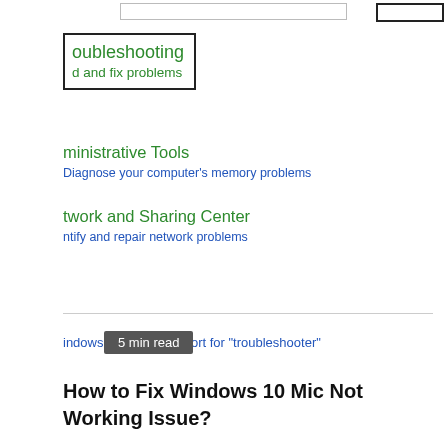[Figure (screenshot): Partial search input bar and button at top of page]
oubleshooting
d and fix problems
ministrative Tools
Diagnose your computer's memory problems
twork and Sharing Center
ntify and repair network problems
5 min read
indows Help and support for "troubleshooter"
How to Fix Windows 10 Mic Not Working Issue?
RECENT POSTS
Fix Video TDR Failure error in Windows 10
How to Change a Folder Picture in Windows 10
12 Ways to Fix Steam Won't Open Issue